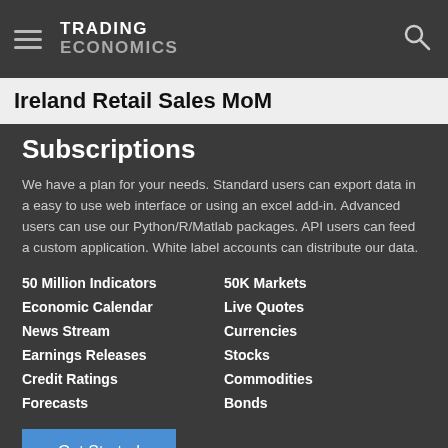TRADING ECONOMICS
Ireland Retail Sales MoM
Subscriptions
We have a plan for your needs. Standard users can export data in a easy to use web interface or using an excel add-in. Advanced users can use our Python/R/Matlab packages. API users can feed a custom application. White label accounts can distribute our data.
50 Million Indicators
Economic Calendar
News Stream
Earnings Releases
Credit Ratings
Forecasts
50K Markets
Live Quotes
Currencies
Stocks
Commodities
Bonds
Get Started